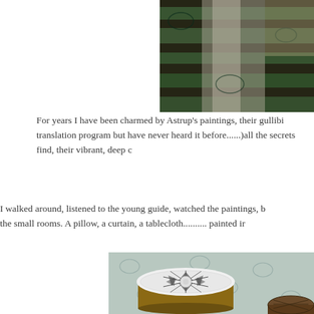[Figure (photo): Partial view of green and white patterned fabric or textile, possibly a loom or folded fabrics, shown in the top-right corner]
For years I have been charmed by Astrup's paintings, their gullibi translation program but have never heard it before......)all the secrets find, their vibrant, deep c
I walked around, listened to the young guide, watched the paintings, b the small rooms. A pillow, a curtain, a tablecloth.......... painted ir
[Figure (photo): A decorative wooden box with white carved geometric star/snowflake lid pattern sitting on a patterned light blue/white tablecloth, with another darker decorative box partially visible at bottom right]